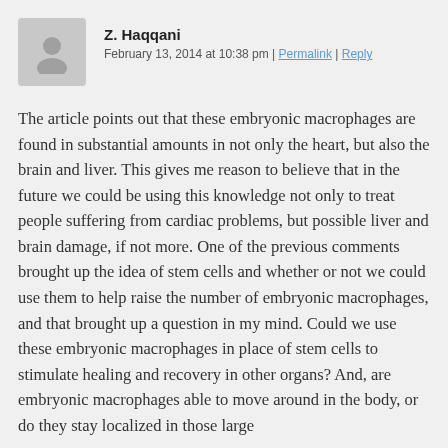Z. Haqqani — February 13, 2014 at 10:38 pm | Permalink | Reply
The article points out that these embryonic macrophages are found in substantial amounts in not only the heart, but also the brain and liver. This gives me reason to believe that in the future we could be using this knowledge not only to treat people suffering from cardiac problems, but possible liver and brain damage, if not more. One of the previous comments brought up the idea of stem cells and whether or not we could use them to help raise the number of embryonic macrophages, and that brought up a question in my mind. Could we use these embryonic macrophages in place of stem cells to stimulate healing and recovery in other organs? And, are embryonic macrophages able to move around in the body, or do they stay localized in those large